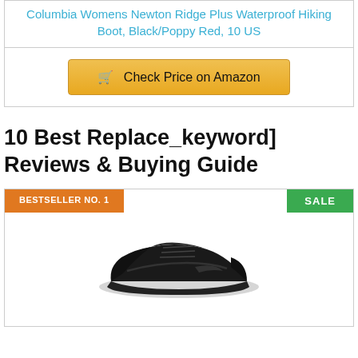Columbia Womens Newton Ridge Plus Waterproof Hiking Boot, Black/Poppy Red, 10 US
[Figure (other): Check Price on Amazon button with shopping cart icon]
10 Best Replace_keyword] Reviews & Buying Guide
BESTSELLER NO. 1
SALE
[Figure (photo): Black Reebok athletic/walking shoe viewed from the side, on white background]